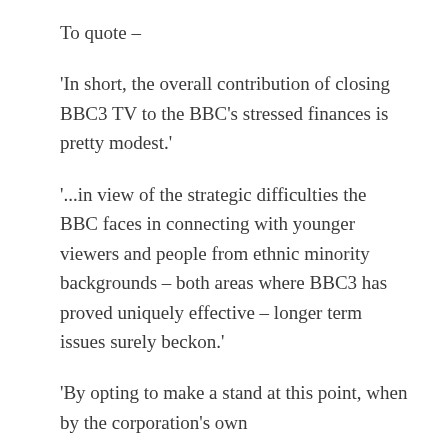To quote –
'In short, the overall contribution of closing BBC3 TV to the BBC's stressed finances is pretty modest.'
'...in view of the strategic difficulties the BBC faces in connecting with younger viewers and people from ethnic minority backgrounds – both areas where BBC3 has proved uniquely effective – longer term issues surely beckon.'
'By opting to make a stand at this point, when by the corporation's own